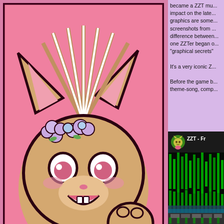[Figure (illustration): Cartoon cat-like creature with flower crown, pink background, wearing pink, beige/tan fur, wide eyes, open mouth smiling. Illustrated in bold comic style with thick black outline.]
|  | Games |  |
| --- | --- | --- |
| 2020 | Wake Up and Save the World |  |
became a ZZT mu... impact on the late... graphics are some... screenshots from ... difference between... one ZZTer began o... "graphical secrets"
It's a very iconic Z...
Before the game b... theme-song, comp...
[Figure (screenshot): YouTube video thumbnail showing ZZT - Fr... with a green pixel art / ASCII animation on a dark background. Avatar shows cartoon cat character in a round icon.]